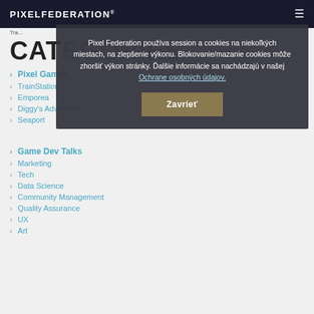PIXELFEDERATION®
Tra...
CATEGORIES
Pixel Games
TrainStation
Emporea
Diggy's Adventure
Seaport
Game Dev Talks
Marketing
Tech
Data Science
Community Management
Quality Assurance
UX
Art
Pixel Federation používa session a cookies na niekoľkých miestach, na zlepšenie výkonu. Blokovanie/mazanie cookies môže zhoršiť výkon stránky. Ďalšie informácie sa nachádzajú v našej Ochrane osobných údajov. Zavrieť